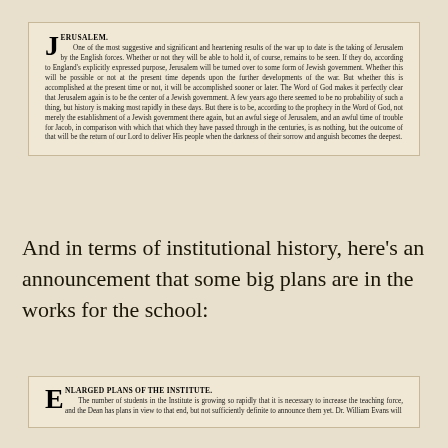JERUSALEM.
One of the most suggestive and significant and heartening results of the war up to date is the taking of Jerusalem by the English forces. Whether or not they will be able to hold it, of course, remains to be seen. If they do, according to England's explicitly expressed purpose, Jerusalem will be turned over to some form of Jewish government. Whether this will be possible or not at the present time depends upon the further developments of the war. But whether this is accomplished at the present time or not, it will be accomplished sooner or later. The Word of God makes it perfectly clear that Jerusalem again is to be the center of a Jewish government. A few years ago there seemed to be no probability of such a thing, but history is making most rapidly in these days. But there is to be, according to the prophecy in the Word of God, not merely the establishment of a Jewish government there again, but an awful siege of Jerusalem, and an awful time of trouble for Jacob, in comparison with which that which they have passed through in the centuries, is as nothing, but the outcome of that will be the return of our Lord to deliver His people when the darkness of their sorrow and anguish becomes the deepest.
And in terms of institutional history, here's an announcement that some big plans are in the works for the school:
ENLARGED PLANS OF THE INSTITUTE.
The number of students in the Institute is growing so rapidly that it is necessary to increase the teaching force, and the Dean has plans in view to that end, but not sufficiently definite to announce them yet. Dr. William Evans will